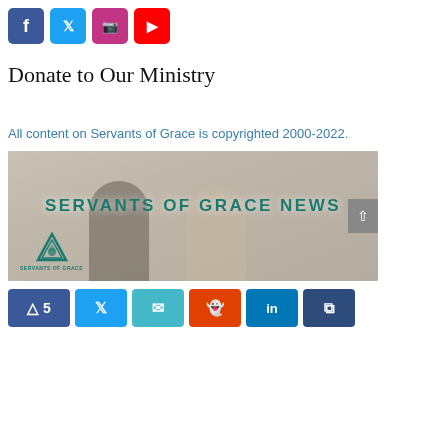[Figure (other): Social media icon buttons: Facebook (blue), Twitter (light blue), Instagram (pink/purple), YouTube (red)]
Donate to Our Ministry
All content on Servants of Grace is copyrighted 2000-2022.
[Figure (photo): Servants of Grace News banner image showing two people having a conversation at a table in an office setting, with the text 'SERVANTS OF GRACE NEWS' overlaid in teal, and the Servants of Grace logo in the bottom left corner.]
[Figure (other): Social share buttons: Facebook (with count 5), Twitter, Email, Reddit, LinkedIn, Buffer]